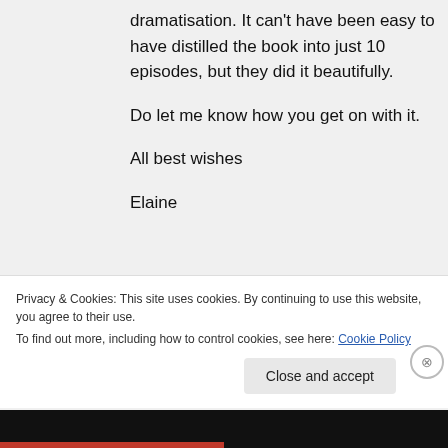dramatisation. It can't have been easy to have distilled the book into just 10 episodes, but they did it beautifully.

Do let me know how you get on with it.

All best wishes

Elaine
Privacy & Cookies: This site uses cookies. By continuing to use this website, you agree to their use.
To find out more, including how to control cookies, see here: Cookie Policy